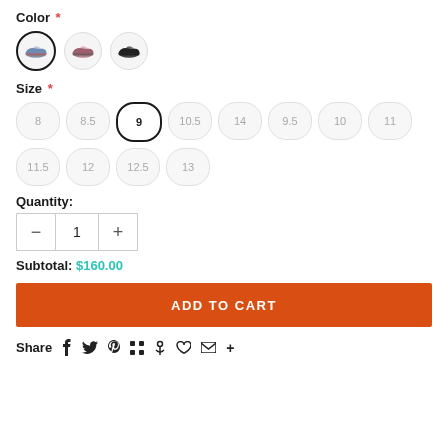Color *
[Figure (illustration): Three shoe color swatches shown as circular thumbnails. First (selected, dark border): blue/grey sneaker. Second: dark red/black sneaker. Third: black sneaker.]
Size *
8 | 8.5 | 9 (selected) | 10.5 | 14 | 9.5 | 10 | 11 | 11.5 | 12 | 12.5 | 13
Quantity:
- 1 +
Subtotal: $160.00
ADD TO CART
Share  f  𝕎  P  ⊞  ♠  ♡  ✉  +